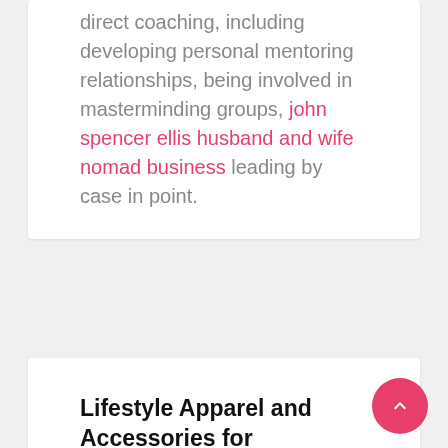direct coaching, including developing personal mentoring relationships, being involved in masterminding groups, john spencer ellis husband and wife nomad business leading by case in point.
Lifestyle Apparel and Accessories for Christmas
Arts & Entertainment::Celebrities
bybush
The stores are decked out with snowflakes, bright lights, and festive tints. Everywhere you go there is cheery music playing and people bundled up in warm winter items. These sights...